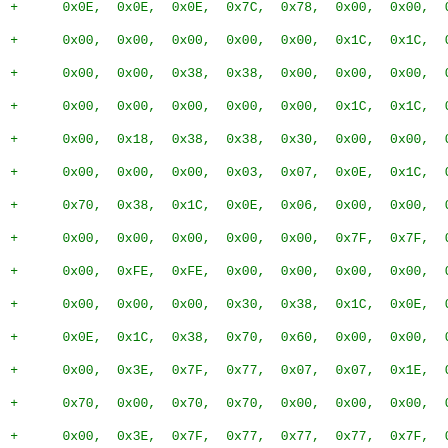Code listing showing hex byte values prefixed with + signs, in green monospace font. Lines of hex constants like 0x0E, 0x7C, 0x78, 0x00, etc.